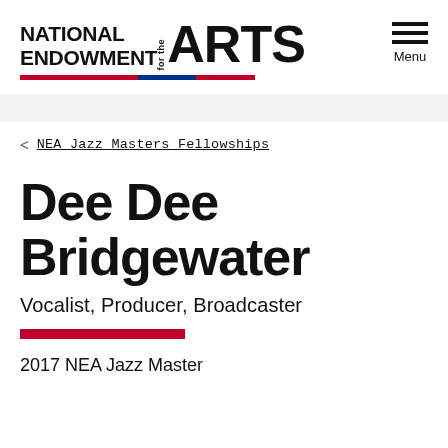NATIONAL ENDOWMENT for the ARTS
Menu
< NEA Jazz Masters Fellowships
Dee Dee Bridgewater
Vocalist, Producer, Broadcaster
2017 NEA Jazz Master